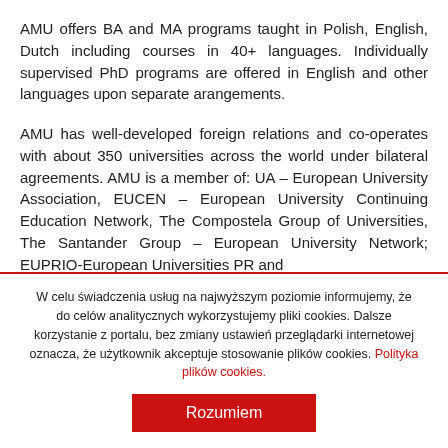AMU offers BA and MA programs taught in Polish, English, Dutch including courses in 40+ languages. Individually supervised PhD programs are offered in English and other languages upon separate arangements.
AMU has well-developed foreign relations and co-operates with about 350 universities across the world under bilateral agreements. AMU is a member of: UA – European University Association, EUCEN – European University Continuing Education Network, The Compostela Group of Universities, The Santander Group – European University Network; EUPRIO-European Universities PR and
W celu świadczenia usług na najwyższym poziomie informujemy, że do celów analitycznych wykorzystujemy pliki cookies. Dalsze korzystanie z portalu, bez zmiany ustawień przeglądarki internetowej oznacza, że użytkownik akceptuje stosowanie plików cookies. Polityka plików cookies.
Rozumiem